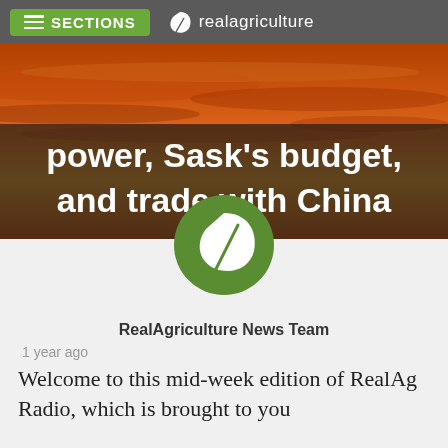SECTIONS | realagriculture
[Figure (photo): Sunset/orange sky background hero image with bold white text overlay reading 'power, Sask's budget, and trade with China']
power, Sask's budget, and trade with China
[Figure (logo): RealAgriculture green circle logo with white leaf icon]
RealAgriculture News Team
1 year ago
Welcome to this mid-week edition of RealAg Radio, which is brought to you